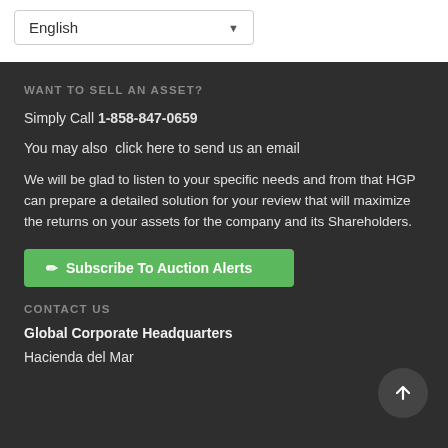[Figure (screenshot): Language selector dropdown showing 'English' with a down arrow, styled as a form control with border]
WANT TO SELL AN ASSET?
Simply Call 1-858-847-0659
You may also click here to send us an email
We will be glad to listen to your specific needs and from that HGP can prepare a detailed solution for your review that will maximize the returns on your assets for the company and its Shareholders.
[Figure (other): Green button with pencil icon labeled 'Subscribe To Auction Alerts']
CONTACT US
Global Corporate Headquarters
Hacienda del Mar